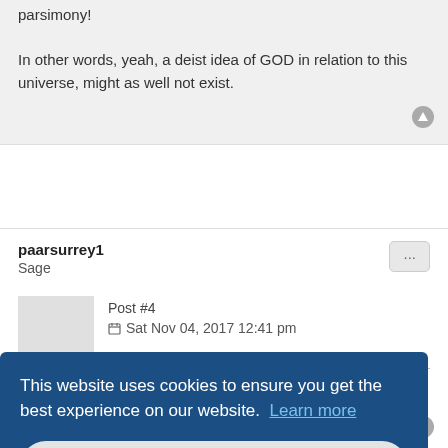parsimony!
In other words, yeah, a deist idea of GOD in relation to this universe, might as well not exist.
paarsurrey1
Sage
Post #4
Sat Nov 04, 2017 12:41 pm
Deism vs. Atheism. Which is more likely true?
...ers all ...elieve. ...hoice
This website uses cookies to ensure you get the best experience on our website. Learn more
Got it!